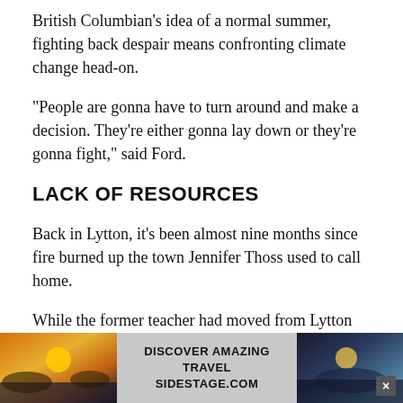British Columbian's idea of a normal summer, fighting back despair means confronting climate change head-on.
“People are gonna have to turn around and make a decision. They’re either gonna lay down or they’re gonna fight,” said Ford.
LACK OF RESOURCES
Back in Lytton, it’s been almost nine months since fire burned up the town Jennifer Thoss used to call home.
While the former teacher had moved from Lytton before the fire, her tenants had been left homeless after it swept through their houses.
Last week, Thoss began clearing debris from her properties
[Figure (other): Advertisement banner: DISCOVER AMAZING TRAVEL SIDESTAGE.COM with sunset/mountain landscape images on each side]